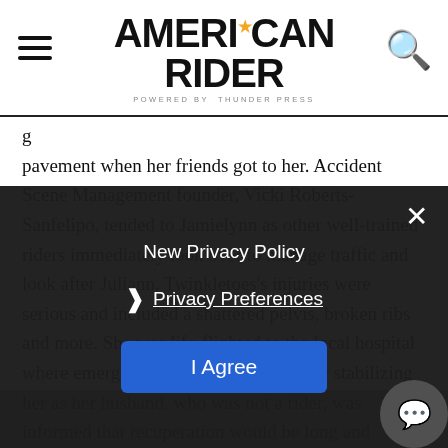AMERICAN RIDER powered by THUNDER PRESS
g pavement when her friends got to her. Accident Scene Management founder, Vicki Roberts-Sanfelipo, tended to Jamielynn as other well-trained riders immediately took over to manage traffic and look after Juliann. Twinkletoes’s injuries were serious and included a shattered pelvis, broken ribs and more. She was life-flighted to the local hospital where emergency medical staff got busy stabilizing her as her husband, who was not a rider, was informed that recuperation would be long and painful, but she would heal. Their plans for a family, however, were put on hold at the suggestion of doctors who weren’t sure she’d ever be able to have children. After a while Twinkletoes was sent home and the newlyweds set into a life of bed rest and in typical fashion, however, fate had plans unbeknownst to the young couple
New Privacy Policy
Privacy Preferences
I Agree